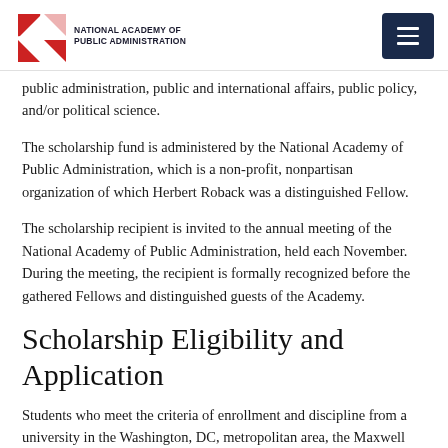National Academy of Public Administration
public administration, public and international affairs, public policy, and/or political science.
The scholarship fund is administered by the National Academy of Public Administration, which is a non-profit, nonpartisan organization of which Herbert Roback was a distinguished Fellow.
The scholarship recipient is invited to the annual meeting of the National Academy of Public Administration, held each November. During the meeting, the recipient is formally recognized before the gathered Fellows and distinguished guests of the Academy.
Scholarship Eligibility and Application
Students who meet the criteria of enrollment and discipline from a university in the Washington, DC, metropolitan area, the Maxwell School at Syracuse University, Brandeis University, the Woodrow